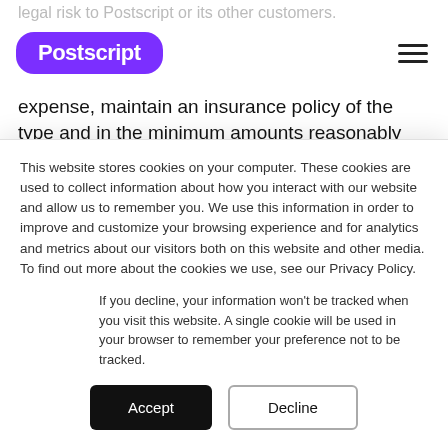legal risk to Postscript or its other customers.
[Figure (logo): Postscript logo — white text on purple rounded pill shape]
expense, maintain an insurance policy of the type and in the minimum amounts reasonably necessary and appropriate for your marketing and promotional activities with a reputable insurance carrier duly qualified in all relevant jurisdictions. Upon Postscript's
This website stores cookies on your computer. These cookies are used to collect information about how you interact with our website and allow us to remember you. We use this information in order to improve and customize your browsing experience and for analytics and metrics about our visitors both on this website and other media. To find out more about the cookies we use, see our Privacy Policy.
If you decline, your information won't be tracked when you visit this website. A single cookie will be used in your browser to remember your preference not to be tracked.